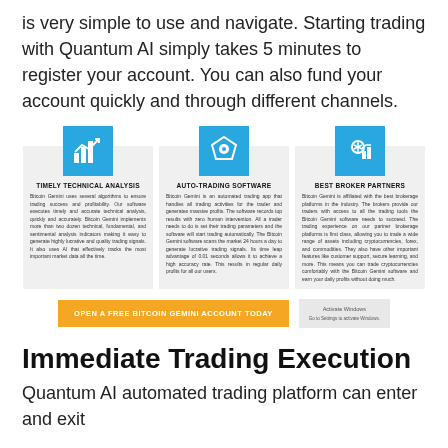is very simple to use and navigate. Starting trading with Quantum AI simply takes 5 minutes to register your account. You can also fund your account quickly and through different channels.
[Figure (infographic): Three feature cards with icons: Timely Technical Analysis, Auto-Trading Software, Best Broker Partners. Each card has a blue icon and descriptive text. Below is an orange CTA button and an Activate Windows notice.]
Immediate Trading Execution
Quantum AI automated trading platform can enter and exit